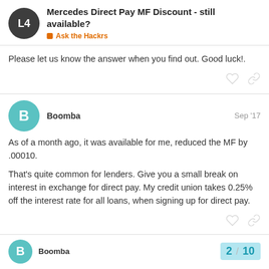Mercedes Direct Pay MF Discount - still available? | Ask the Hackrs
Please let us know the answer when you find out. Good luck!.
Boomba Sep '17
As of a month ago, it was available for me, reduced the MF by .00010.
That's quite common for lenders. Give you a small break on interest in exchange for direct pay. My credit union takes 0.25% off the interest rate for all loans, when signing up for direct pay.
Boomba 2 / 10